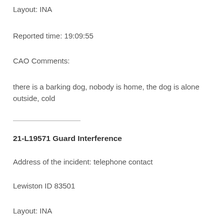Layout: INA
Reported time: 19:09:55
CAO Comments:
there is a barking dog, nobody is home, the dog is alone outside, cold
21-L19571 Guard Interference
Address of the incident: telephone contact
Lewiston ID 83501
Layout: INA